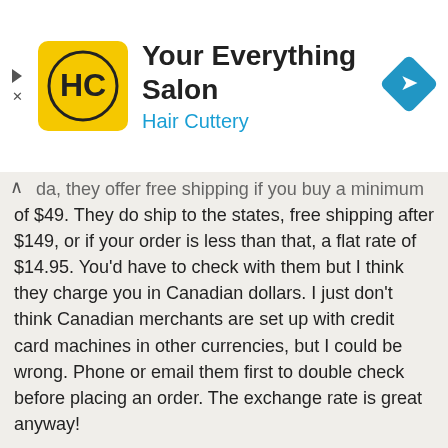[Figure (logo): Hair Cuttery advertisement banner with logo (HC in yellow circle), title 'Your Everything Salon', subtitle 'Hair Cuttery', and a blue navigation diamond icon]
da, they offer free shipping if you buy a minimum of $49. They do ship to the states, free shipping after $149, or if your order is less than that, a flat rate of $14.95. You'd have to check with them but I think they charge you in Canadian dollars. I just don't think Canadian merchants are set up with credit card machines in other currencies, but I could be wrong. Phone or email them first to double check before placing an order. The exchange rate is great anyway!
A three month's supply of AdrenaSmart (a bottle of 180 tablets) costs around $45. For a good night's sleep costing $15/month it's well worth it!
Melatonin